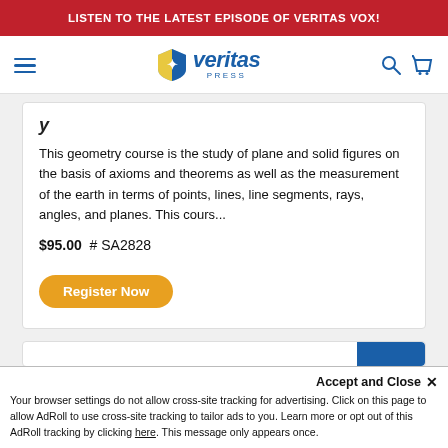LISTEN TO THE LATEST EPISODE OF VERITAS VOX!
[Figure (logo): Veritas Press logo with shield and text]
This geometry course is the study of plane and solid figures on the basis of axioms and theorems as well as the measurement of the earth in terms of points, lines, line segments, rays, angles, and planes. This cours...
$95.00  # SA2828
Register Now
Accept and Close ×
Your browser settings do not allow cross-site tracking for advertising. Click on this page to allow AdRoll to use cross-site tracking to tailor ads to you. Learn more or opt out of this AdRoll tracking by clicking here. This message only appears once.